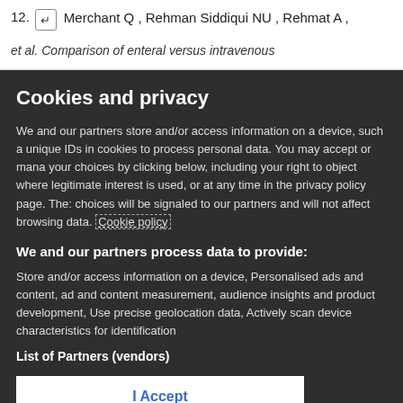12. [return icon] Merchant Q , Rehman Siddiqui NU , Rehmat A , et al. Comparison of enteral versus intravenous
Cookies and privacy
We and our partners store and/or access information on a device, such as unique IDs in cookies to process personal data. You may accept or manage your choices by clicking below, including your right to object where legitimate interest is used, or at any time in the privacy policy page. These choices will be signaled to our partners and will not affect browsing data. Cookie policy
We and our partners process data to provide:
Store and/or access information on a device, Personalised ads and content, ad and content measurement, audience insights and product development, Use precise geolocation data, Actively scan device characteristics for identification
List of Partners (vendors)
I Accept